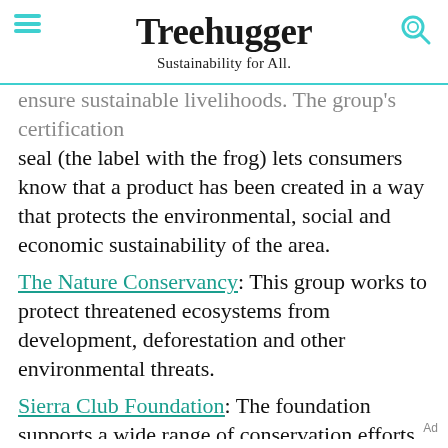Treehugger — Sustainability for All.
ensure sustainable livelihoods. The group's certification seal (the label with the frog) lets consumers know that a product has been created in a way that protects the environmental, social and economic sustainability of the area.
The Nature Conservancy: This group works to protect threatened ecosystems from development, deforestation and other environmental threats.
Sierra Club Foundation: The foundation supports a wide range of conservation efforts, all with the goal of protecting habitat, water quality, air quality and the world's ecosystems.
Ad